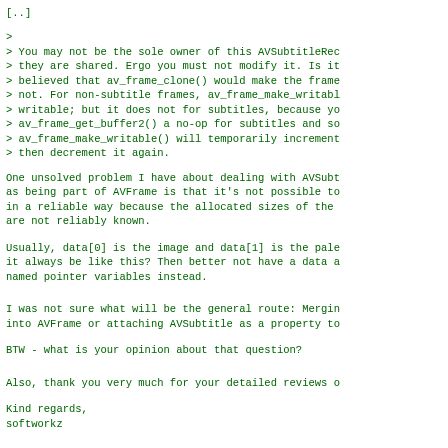[..]
>
> You may not be the sole owner of this AVSubtitleRec
> they are shared. Ergo you must not modify it. Is it
> believed that av_frame_clone() would make the frame
> not. For non-subtitle frames, av_frame_make_writable
> writable; but it does not for subtitles, because yo
> av_frame_get_buffer2() a no-op for subtitles and so
> av_frame_make_writable() will temporarily increment
> then decrement it again.
One unsolved problem I have about dealing with AVSubt
as being part of AVFrame is that it's not possible to
in a reliable way because the allocated sizes of the
are not reliably known.
Usually, data[0] is the image and data[1] is the pale
it always be like this? Then better not have a data a
named pointer variables instead.
I was not sure what will be the general route: Merging
into AVFrame or attaching AVSubtitle as a property to
BTW - what is your opinion about that question?
Also, thank you very much for your detailed reviews o
Kind regards,
softworkz